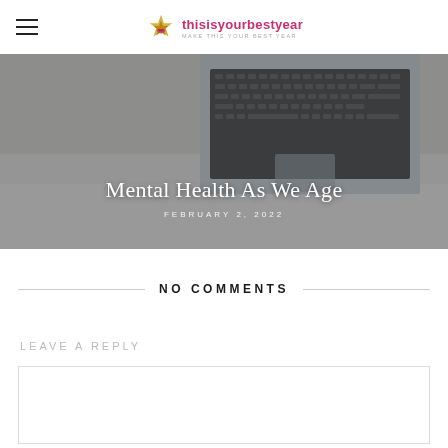thisisyourbestyear
[Figure (photo): Hero image of a laptop on a white fur rug, overlaid with blog post title 'Mental Health As We Age' and date 'FEBRUARY 2, 2022']
Mental Health As We Age
FEBRUARY 2, 2022
NO COMMENTS
LEAVE A REPLY